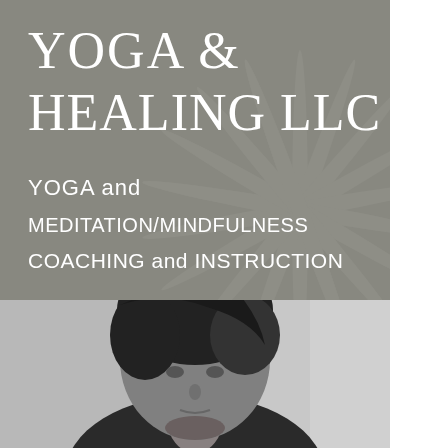[Figure (logo): Yoga & Healing LLC logo with gray background, decorative sunburst/leaf pattern, and white text reading YOGA & HEALING LLC with subtitle YOGA and MEDITATION/MINDFULNESS COACHING and INSTRUCTION]
[Figure (photo): Black and white portrait photo of a person with dark hair, showing head and upper shoulders, neutral expression, gray background]